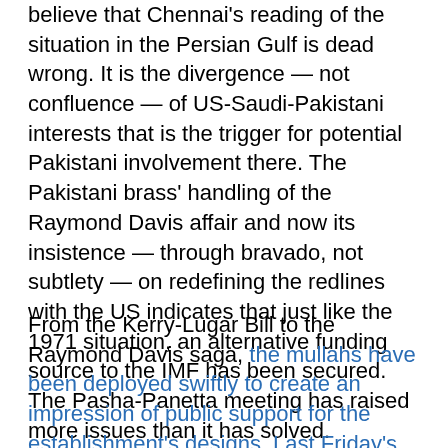believe that Chennai's reading of the situation in the Persian Gulf is dead wrong. It is the divergence — not confluence — of US-Saudi-Pakistani interests that is the trigger for potential Pakistani involvement there. The Pakistani brass' handling of the Raymond Davis affair and now its insistence — through bravado, not subtlety — on redefining the redlines with the US indicates that just like the 1971 situation, an alternative funding source to the IMF has been secured. The Pasha-Panetta meeting has raised more issues than it has solved. Pakistani-Saudi interests are at odds with the US and are confluent with each other.
From the Kerry-Lugar Bill to the Raymond Davis saga, the mullahs have been deployed swiftly to create an impression of public support for the establishment's designs. Last Friday's mobilisation of the religious parties in favour of the Saudis is the establishment's standard drill and will be repeated as needed. The Pakistani deep state apparently has decided to keep selling itself to the oil-rich sheikhs. The observations of foreign analysts already will be mentioned in